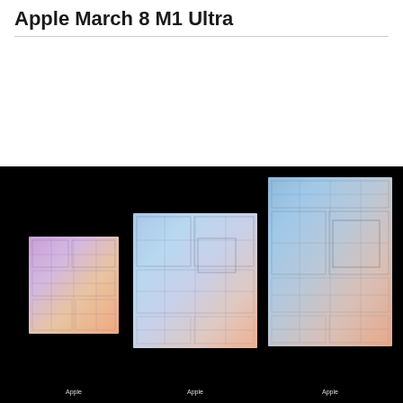Apple March 8 M1 Ultra
[Figure (photo): Three Apple silicon chip dies (M1, M1 Pro/Max, M1 Ultra) shown side by side against a black background, displaying colorful iridescent circuit patterns. From left to right the dies increase in size. Each chip shows 'Apple' branding text at the bottom.]